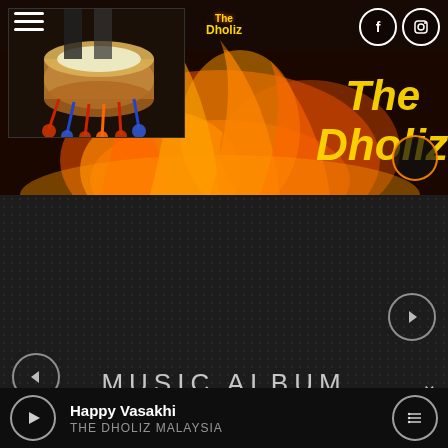[Figure (screenshot): Music app banner with flame background, 'The Dholiz' logo in gold/yellow, a thumbnail photo of a dhol drum in top-left, hamburger menu icon, Facebook and Instagram circle icons top-right, and small yellow The Dholiz logo text in center-top]
[Figure (screenshot): Dark dotted middle section with right-pointing arrow circle button on right and left-pointing arrow circle button on lower-left]
MUSIC ALBUM
Happy Vasakhi
THE DHOLIZ MALAYSIA